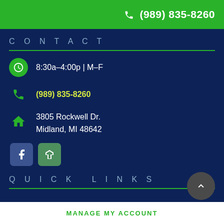(989) 835-8260
CONTACT
8:30a-4:00p | M-F
(989) 835-8260
3805 Rockwell Dr. Midland, MI 48642
[Figure (logo): Facebook and Houzz social media icons]
QUICK LINKS
MANAGE MY ACCOUNT